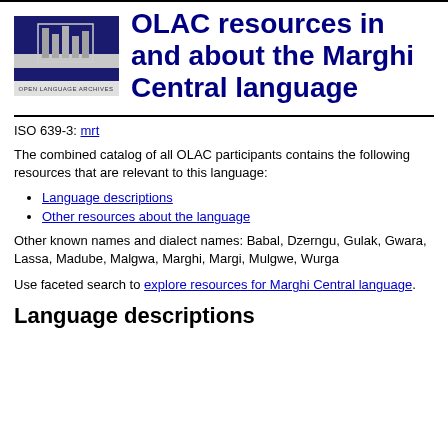[Figure (logo): Open Language Archives logo: dark blue square with vertical bar chart graphic in grey/silver, text 'OPEN LANGUAGE ARCHIVES' below]
OLAC resources in and about the Marghi Central language
ISO 639-3: mrt
The combined catalog of all OLAC participants contains the following resources that are relevant to this language:
Language descriptions
Other resources about the language
Other known names and dialect names: Babal, Dzerngu, Gulak, Gwara, Lassa, Madube, Malgwa, Marghi, Margi, Mulgwe, Wurga
Use faceted search to explore resources for Marghi Central language.
Language descriptions